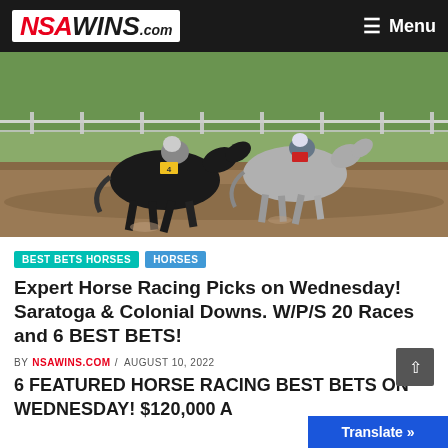NSAWINS.com — Menu
[Figure (photo): Two horses racing neck-and-neck on a dirt track, jockeys in racing silks, green grass and white fence rail in background]
BEST BETS HORSES  HORSES
Expert Horse Racing Picks on Wednesday! Saratoga & Colonial Downs. W/P/S 20 Races and 6 BEST BETS!
BY NSAWINS.COM / AUGUST 10, 2022
6 FEATURED HORSE RACING BEST BETS ON WEDNESDAY! $120,000 A